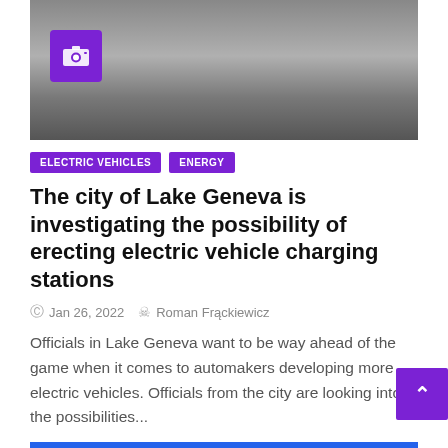[Figure (photo): Front view of a car, grayscale/dark tone, vehicle charging station article illustration with a camera badge overlay]
ELECTRIC VEHICLES
ENERGY
The city of Lake Geneva is investigating the possibility of erecting electric vehicle charging stations
Jan 26, 2022   Roman Frąckiewicz
Officials in Lake Geneva want to be way ahead of the game when it comes to automakers developing more electric vehicles. Officials from the city are looking into the possibilities...